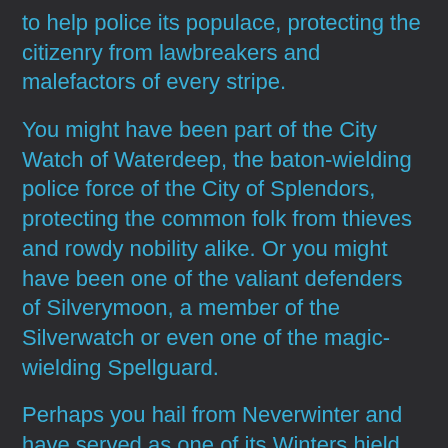to help police its populace, protecting the citizenry from lawbreakers and malefactors of every stripe.
You might have been part of the City Watch of Waterdeep, the baton-wielding police force of the City of Splendors, protecting the common folk from thieves and rowdy nobility alike. Or you might have been one of the valiant defenders of Silverymoon, a member of the Silverwatch or even one of the magic-wielding Spellguard.
Perhaps you hail from Neverwinter and have served as one of its Winters hield watchmen, the newly founded branch of guards who